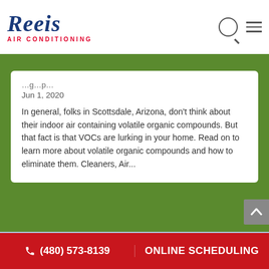Reeis AIR CONDITIONING
Jun 1, 2020
In general, folks in Scottsdale, Arizona, don't think about their indoor air containing volatile organic compounds. But that fact is that VOCs are lurking in your home. Read on to learn more about volatile organic compounds and how to eliminate them. Cleaners, Air...
[Figure (photo): Photo of a house exterior with trees and blue sky visible]
(480) 573-8139  ONLINE SCHEDULING